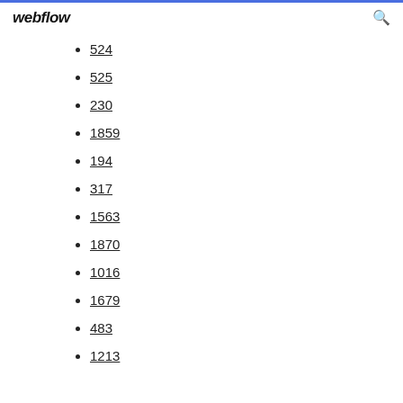webflow
524
525
230
1859
194
317
1563
1870
1016
1679
483
1213